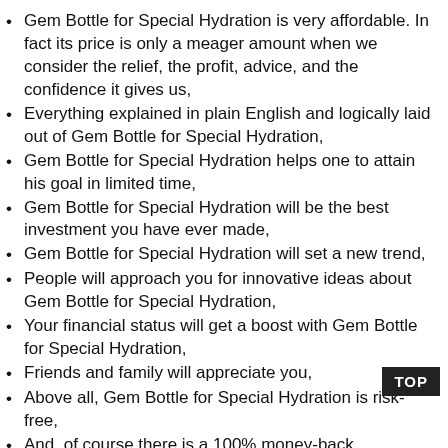Gem Bottle for Special Hydration is very affordable. In fact its price is only a meager amount when we consider the relief, the profit, advice, and the confidence it gives us,
Everything explained in plain English and logically laid out of Gem Bottle for Special Hydration,
Gem Bottle for Special Hydration helps one to attain his goal in limited time,
Gem Bottle for Special Hydration will be the best investment you have ever made,
Gem Bottle for Special Hydration will set a new trend,
People will approach you for innovative ideas about Gem Bottle for Special Hydration,
Your financial status will get a boost with Gem Bottle for Special Hydration,
Friends and family will appreciate you,
Above all, Gem Bottle for Special Hydration is risk-free,
And, of course there is a 100% money-back guarantee.
Cons: